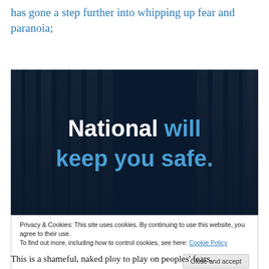has gone a step further into whipping up fear and paranoia;
[Figure (photo): Dark background with vertical bars/prison bars imagery. Bold text overlay reads 'National will keep you safe.' in white and blue.]
Privacy & Cookies: This site uses cookies. By continuing to use this website, you agree to their use.
To find out more, including how to control cookies, see here: Cookie Policy
Close and accept
This is a shameful, naked ploy to play on peoples' fears.